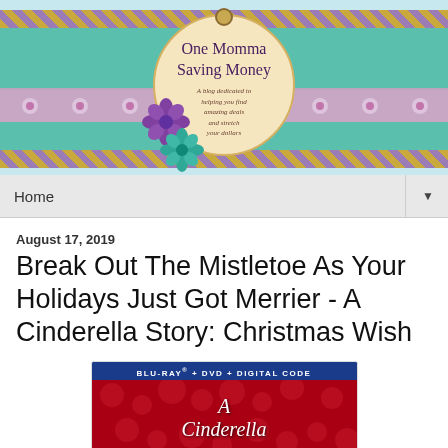[Figure (illustration): One Momma Saving Money blog header banner with teal burlap texture, diagonal gold and purple diagonal stripes, floral band, circular tag with blog name and tagline, purple and teal decorative flowers]
Home ▼
August 17, 2019
Break Out The Mistletoe As Your Holidays Just Got Merrier - A Cinderella Story: Christmas Wish
[Figure (photo): A Cinderella Story: Christmas Wish Blu-ray + DVD + Digital Code movie cover with two people on a background of red roses]